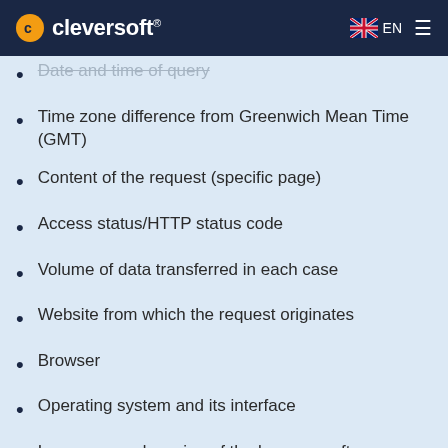cleversoft® EN
Date and time of query
Time zone difference from Greenwich Mean Time (GMT)
Content of the request (specific page)
Access status/HTTP status code
Volume of data transferred in each case
Website from which the request originates
Browser
Operating system and its interface
Language and version of the browser software
We collect and store this data on the basis